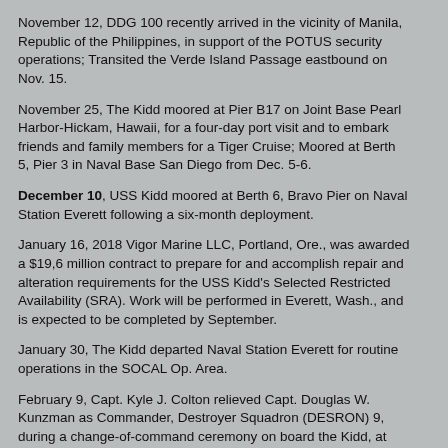November 12, DDG 100 recently arrived in the vicinity of Manila, Republic of the Philippines, in support of the POTUS security operations; Transited the Verde Island Passage eastbound on Nov. 15.
November 25, The Kidd moored at Pier B17 on Joint Base Pearl Harbor-Hickam, Hawaii, for a four-day port visit and to embark friends and family members for a Tiger Cruise; Moored at Berth 5, Pier 3 in Naval Base San Diego from Dec. 5-6.
December 10, USS Kidd moored at Berth 6, Bravo Pier on Naval Station Everett following a six-month deployment.
January 16, 2018 Vigor Marine LLC, Portland, Ore., was awarded a $19,6 million contract to prepare for and accomplish repair and alteration requirements for the USS Kidd's Selected Restricted Availability (SRA). Work will be performed in Everett, Wash., and is expected to be completed by September.
January 30, The Kidd departed Naval Station Everett for routine operations in the SOCAL Op. Area.
February 9, Capt. Kyle J. Colton relieved Capt. Douglas W. Kunzman as Commander, Destroyer Squadron (DESRON) 9, during a change-of-command ceremony on board the Kidd, at Naval Station Everett.
February 23, USS Kidd departed homeport for routine operations in the Strait of Juan de Fuca; Moored at Ammunition Pier, Naval Magazine Indian Island for ammo offload from Feb. 26- March 2; Returned home on March 5.